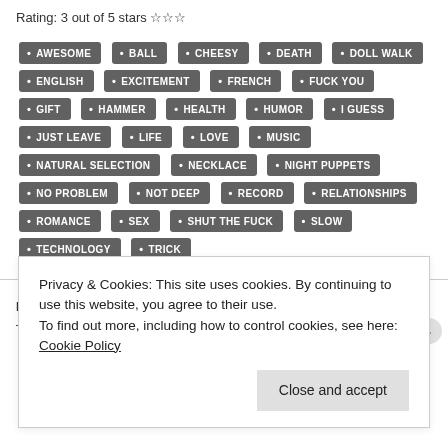Rating: 3 out of 5 stars ☆☆☆
AWESOME • BALL • CHEESY • DEATH • DOLL WALK • ENGLISH • EXCITEMENT • FRENCH • FUCK YOU • GIFT • HAMMER • HEALTH • HUMOR • I GUESS • JUST LEAVE • LIFE • LOVE • MUSIC • NATURAL SELECTION • NECKLACE • NIGHT PUPPETS • NO PROBLEM • NOT DEEP • RECORD • RELATIONSHIPS • ROMANCE • SEX • SHUT THE FUCK • SLOW • TECHNOLOGY • TRICK
Privacy & Cookies: This site uses cookies. By continuing to use this website, you agree to their use.
To find out more, including how to control cookies, see here: Cookie Policy
Close and accept